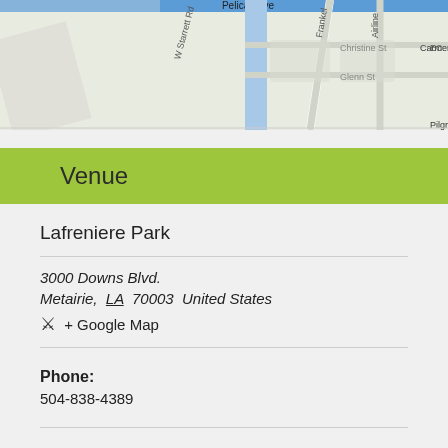[Figure (map): Partial street map showing Pelican Ave, Christine St, Glenn St, Carmen St, Frankel, Airline, and other streets near Lafreniere Park, Metairie LA]
Venue
Lafreniere Park
3000 Downs Blvd.
Metairie,  LA  70003  United States
+ Google Map
Phone:
504-838-4389
View Venue Website